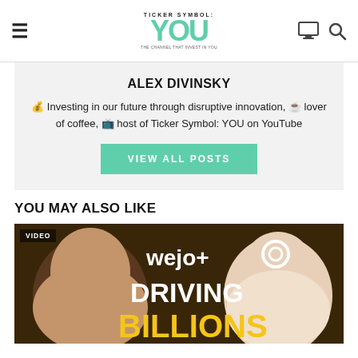Ticker Symbol: YOU — navigation header with hamburger menu, logo, monitor icon, search icon
ALEX DIVINSKY
💰 Investing in our future through disruptive innovation, ☕ lover of coffee, 📺 host of Ticker Symbol: YOU on YouTube
VIEW ALL POSTS
YOU MAY ALSO LIKE
[Figure (photo): Video thumbnail showing two men and text 'wejo + O DRIVING BILLIONS' on a dark background with yellow accents, with a 'VIDEO' label badge in the top left corner.]